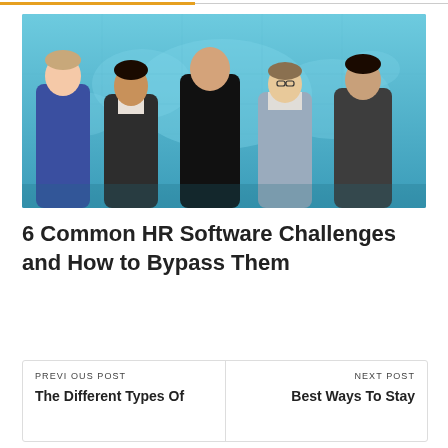[Figure (photo): Five business professionals (four men and one woman) standing in front of a blue world map background, posing confidently.]
6 Common HR Software Challenges and How to Bypass Them
PREVIOUS POST
The Different Types Of
NEXT POST
Best Ways To Stay